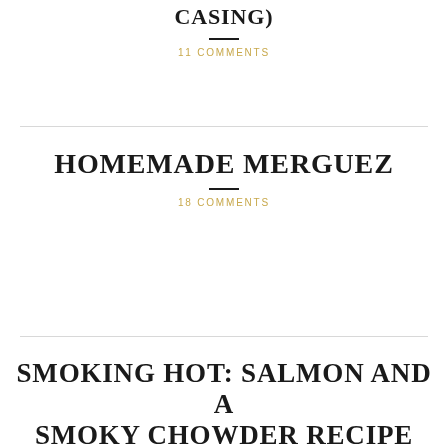CASING)
11 COMMENTS
HOMEMADE MERGUEZ
18 COMMENTS
SMOKING HOT: SALMON AND A SMOKY CHOWDER RECIPE